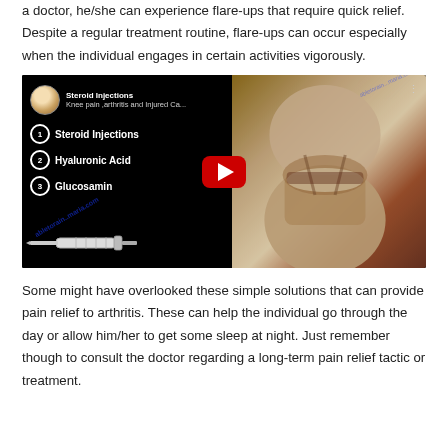a doctor, he/she can experience flare-ups that require quick relief. Despite a regular treatment routine, flare-ups can occur especially when the individual engages in certain activities vigorously.
[Figure (screenshot): YouTube video thumbnail showing a medical video titled 'Steroid Injections - Knee pain, arthritis and Injured Ca...' with numbered list items: 1. Steroid Injections, 2. Hyaluronic Acid, 3. Glucosamine. Left side shows dark background with white bold text and numbered circles. Right side shows anatomical knee joint image. A red YouTube play button is centered over the image. A syringe illustration is visible. Watermark text visible diagonally.]
Some might have overlooked these simple solutions that can provide pain relief to arthritis. These can help the individual go through the day or allow him/her to get some sleep at night. Just remember though to consult the doctor regarding a long-term pain relief tactic or treatment.